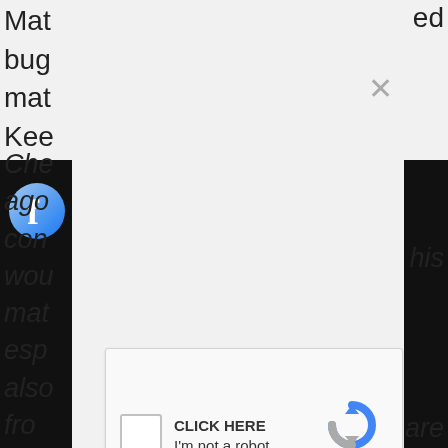Mat
bug
mat
Kee
ed
[Figure (screenshot): reCAPTCHA widget with checkbox, 'CLICK HERE' text, 'I'm not a robot' label, reCAPTCHA logo, Privacy and Terms links]
Che
ago
con
wou
mat
esp
also
fro
his
are